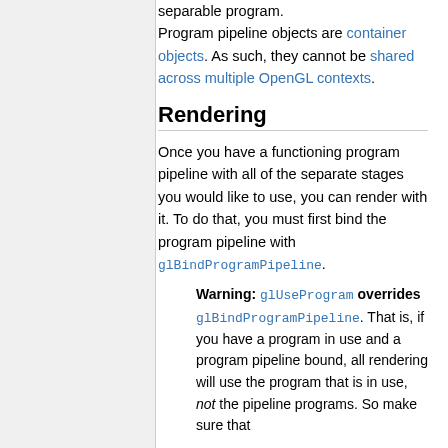separable program. Program pipeline objects are container objects. As such, they cannot be shared across multiple OpenGL contexts.
Rendering
Once you have a functioning program pipeline with all of the separate stages you would like to use, you can render with it. To do that, you must first bind the program pipeline with glBindProgramPipeline.
Warning: glUseProgram overrides glBindProgramPipeline. That is, if you have a program in use and a program pipeline bound, all rendering will use the program that is in use, not the pipeline programs. So make sure that